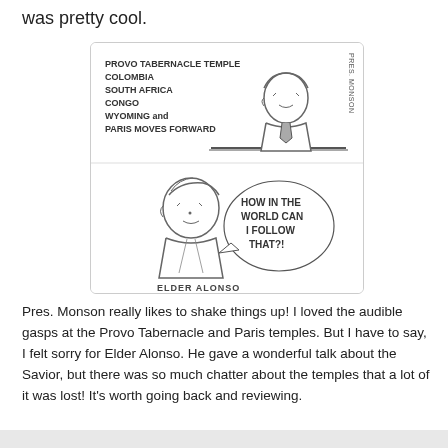was pretty cool.
[Figure (illustration): A hand-drawn cartoon in two panels. Top panel: a man (labeled 'Pres. Monson' vertically on right side) behind a podium/desk with a list reading: PROVO TABERNACLE TEMPLE, COLOMBIA, SOUTH AFRICA, CONGO, WYOMING and PARIS MOVES FORWARD. Bottom panel: a man (labeled 'ELDER ALONSO') with a speech bubble saying 'HOW IN THE WORLD CAN I FOLLOW THAT?!']
Pres. Monson really likes to shake things up! I loved the audible gasps at the Provo Tabernacle and Paris temples. But I have to say, I felt sorry for Elder Alonso. He gave a wonderful talk about the Savior, but there was so much chatter about the temples that a lot of it was lost! It's worth going back and reviewing.